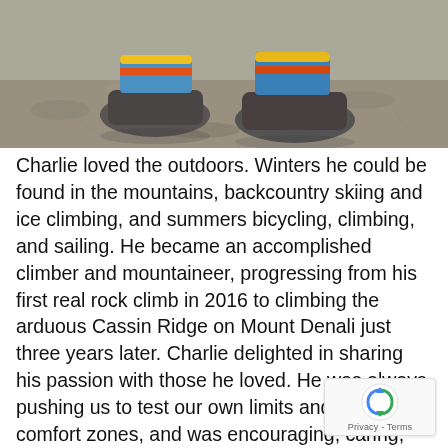[Figure (photo): Close-up photo of boots/feet with colorful socks (yellow, blue stripes) on grey rocky/asphalt ground.]
Charlie loved the outdoors. Winters he could be found in the mountains, backcountry skiing and ice climbing, and summers bicycling, climbing, and sailing. He became an accomplished climber and mountaineer, progressing from his first real rock climb in 2016 to climbing the arduous Cassin Ridge on Mount Denali just three years later. Charlie delighted in sharing his passion with those he loved. He was always pushing us to test our own limits and exit comfort zones, and was encouraging, caring, and loving in his support.
Since graduating from Tufts in 2014 with a BS in Mechanical Engineering, Charlie worked at Architectural Engineers, Inc., in Boston. He just achieved his Professional Engineer